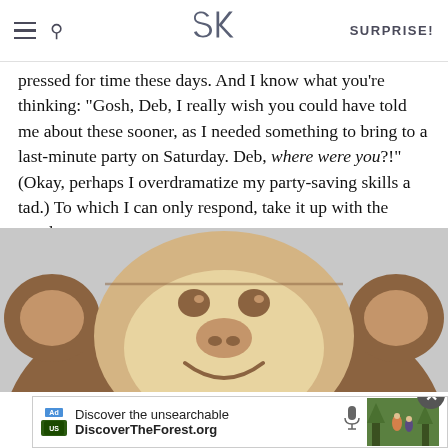SK | SURPRISE!
pressed for time these days. And I know what you're thinking: “Gosh, Deb, I really wish you could have told me about these sooner, as I needed something to bring to a last-minute party on Saturday. Deb, where were you?!” (Okay, perhaps I overdramatize my party-saving skills a tad.) To which I can only respond, take it up with the monkey.
[Figure (photo): A person wearing a plush monkey face hood/mask costume, with a smiling cartoon monkey face in beige/tan and brown, with round ears on either side.]
[Figure (screenshot): Ad banner at bottom: 'Discover the unsearchable / DiscoverTheForest.org' with ad label and microphone icon, and a photo of people in a forest on the right.]